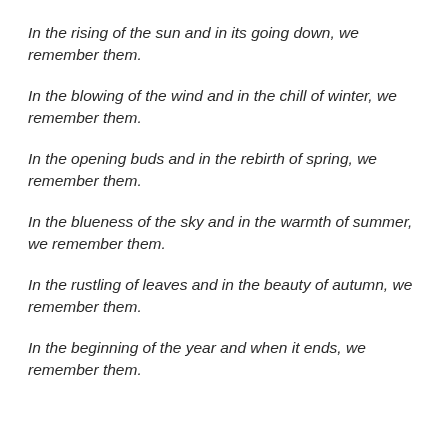In the rising of the sun and in its going down, we remember them.
In the blowing of the wind and in the chill of winter, we remember them.
In the opening buds and in the rebirth of spring, we remember them.
In the blueness of the sky and in the warmth of summer, we remember them.
In the rustling of leaves and in the beauty of autumn, we remember them.
In the beginning of the year and when it ends, we remember them.